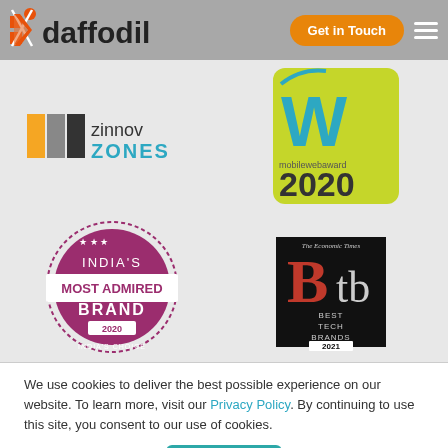[Figure (logo): Daffodil logo with orange X icon and company name]
[Figure (logo): Zinnov Zones award logo]
[Figure (logo): Mobile Web Award 2020 logo]
[Figure (logo): India's Most Admired Brand 2020 badge]
[Figure (logo): The Economic Times Best Tech Brands 2021 logo]
We use cookies to deliver the best possible experience on our website. To learn more, visit our Privacy Policy. By continuing to use this site, you consent to our use of cookies.
I agree